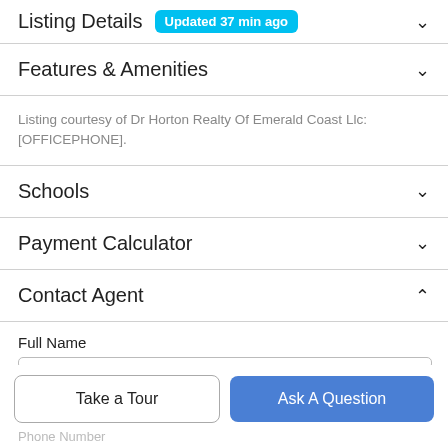Listing Details  Updated 37 min ago
Features & Amenities
Listing courtesy of Dr Horton Realty Of Emerald Coast Llc: [OFFICEPHONE].
Schools
Payment Calculator
Contact Agent
Full Name
Take a Tour
Ask A Question
Phone Number